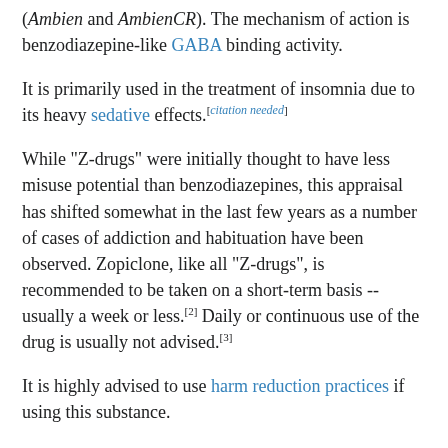(Ambien and AmbienCR). The mechanism of action is benzodiazepine-like GABA binding activity.
It is primarily used in the treatment of insomnia due to its heavy sedative effects.[citation needed]
While "Z-drugs" were initially thought to have less misuse potential than benzodiazepines, this appraisal has shifted somewhat in the last few years as a number of cases of addiction and habituation have been observed. Zopiclone, like all "Z-drugs", is recommended to be taken on a short-term basis -- usually a week or less.[2] Daily or continuous use of the drug is usually not advised.[3]
It is highly advised to use harm reduction practices if using this substance.